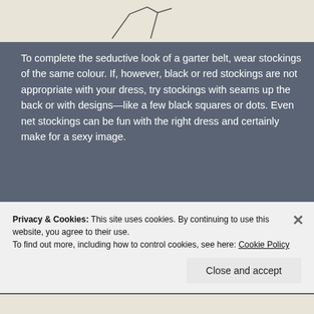[Figure (illustration): Partial view of a line drawing illustration at the top of the page, showing what appears to be a garment shape outline on a light beige background.]
To complete the seductive look of a garter belt, wear stockings of the same colour. If, however, black or red stockings are not appropriate with your dress, try stockings with seams up the back or with designs—like a few black squares or dots. Even net stockings can be fun with the right dress and certainly make for a sexy image.
The purpose of stockings with seams or designs
Privacy & Cookies: This site uses cookies. By continuing to use this website, you agree to their use.
To find out more, including how to control cookies, see here: Cookie Policy
Close and accept